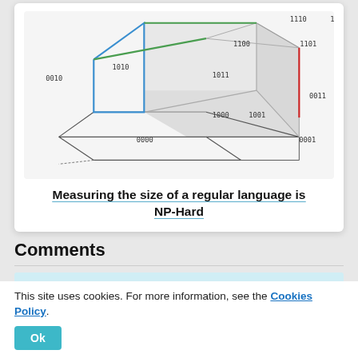[Figure (engineering-diagram): A 4-dimensional hypercube (tesseract) diagram with binary node labels (0000-1111). Colored edges: blue on left face, green on top-back, red on right-back edge. Nodes labeled with 4-bit binary strings.]
Measuring the size of a regular language is NP-Hard
Comments
This site uses cookies. For more information, see the Cookies Policy.